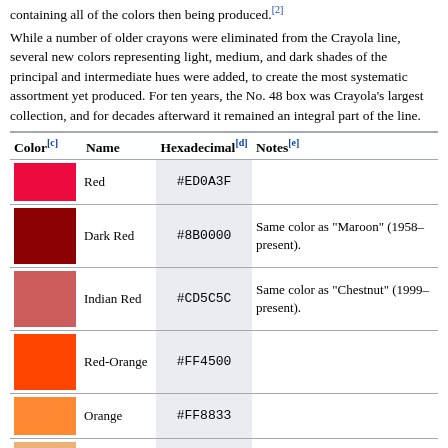containing all of the colors then being produced.[2]
While a number of older crayons were eliminated from the Crayola line, several new colors representing light, medium, and dark shades of the principal and intermediate hues were added, to create the most systematic assortment yet produced. For ten years, the No. 48 box was Crayola's largest collection, and for decades afterward it remained an integral part of the line.
| Color[c] | Name | Hexadecimal[d] | Notes[e] |
| --- | --- | --- | --- |
| (red) | Red | #ED0A3F |  |
| (dark red) | Dark Red | #8B0000 | Same color as "Maroon" (1958–present). |
| (indian red) | Indian Red | #CD5C5C | Same color as "Chestnut" (1999–present). |
| (red-orange) | Red-Orange | #FF4500 |  |
| (orange) | Orange | #FF8833 |  |
| (medium orange) | Medium Orange | #ECB176 | Same color as "Middle Yellow Red" (1926–1949). |
| (yellow-orange) | Yellow-Orange | #FFAE42 |  |
| (gold) | Gold |  | Same color as "Maize" |